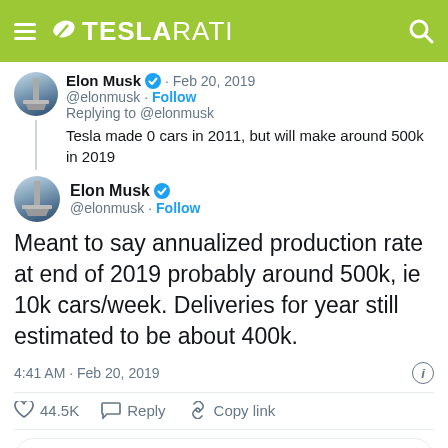TESLARATI
Elon Musk · Feb 20, 2019
@elonmusk · Follow
Replying to @elonmusk
Tesla made 0 cars in 2011, but will make around 500k in 2019
Elon Musk
@elonmusk · Follow
Meant to say annualized production rate at end of 2019 probably around 500k, ie 10k cars/week. Deliveries for year still estimated to be about 400k.
4:41 AM · Feb 20, 2019
44.5K  Reply  Copy link
Read 1.3K replies